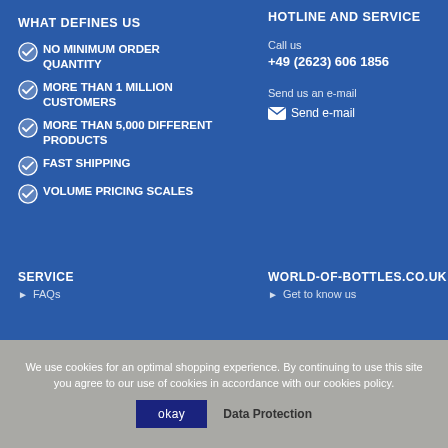WHAT DEFINES US
NO MINIMUM ORDER QUANTITY
MORE THAN 1 MILLION CUSTOMERS
MORE THAN 5,000 DIFFERENT PRODUCTS
FAST SHIPPING
VOLUME PRICING SCALES
HOTLINE AND SERVICE
Call us
+49 (2623) 606 1856
Send us an e-mail
Send e-mail
SERVICE
FAQs
WORLD-OF-BOTTLES.CO.UK
Get to know us
We use cookies for an optimal shopping experience. By continuing to use this site you agree to our use of cookies in accordance with our cookies policy.
okay
Data Protection